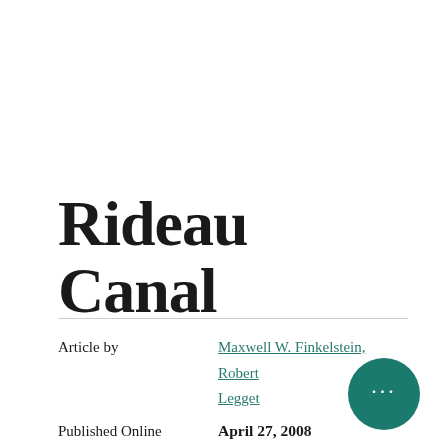Rideau Canal
Article by   Maxwell W. Finkelstein, Robert Legget
Published Online   April 27, 2008
Last Edited   March 22, 2015